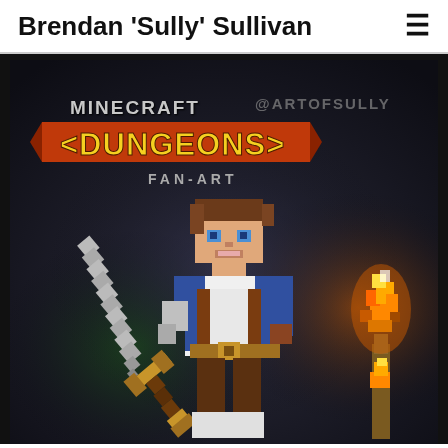Brendan 'Sully' Sullivan
[Figure (illustration): Minecraft Dungeons fan-art illustration showing a blocky Minecraft-style hero character holding a sword, with a torch on the right side. The logo reads 'MINECRAFT <DUNGEONS> FAN-ART' and the watermark '@ARTOFSULLY' appears in the upper right. Dark atmospheric background with glowing green and orange highlights.]